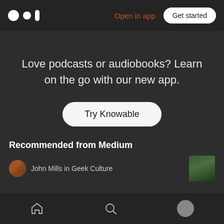[Figure (screenshot): Medium app logo: two white circles and a white oval/bar on dark background]
Open in app
Get started
Love podcasts or audiobooks? Learn on the go with our new app.
Try Knowable
Recommended from Medium
John Mills in Geek Culture